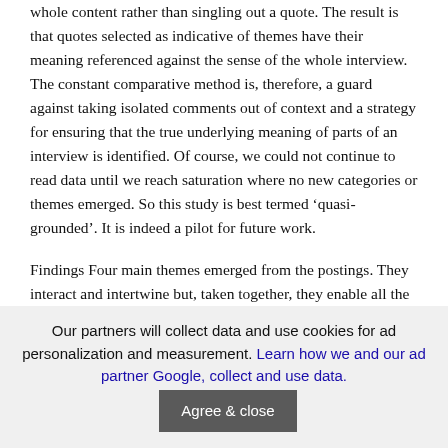whole content rather than singling out a quote. The result is that quotes selected as indicative of themes have their meaning referenced against the sense of the whole interview. The constant comparative method is, therefore, a guard against taking isolated comments out of context and a strategy for ensuring that the true underlying meaning of parts of an interview is identified. Of course, we could not continue to read data until we reach saturation where no new categories or themes emerged. So this study is best termed 'quasi-grounded'. It is indeed a pilot for future work.
Findings Four main themes emerged from the postings. They interact and intertwine but, taken together, they enable all the postings to be accommodated. Theme 1: Teaching experience is a relevant factor in teachers' willingness to change. Experienced teachers have the confidence to 'let go' and cede control to students. All of the teachers in this study reported significant changes in their perception of their own pedagogy. The new teachers were the most tentative in their adoption of more constructivist teaching methods, often reaching only the 'pre-emptive' mid-point. The more
Our partners will collect data and use cookies for ad personalization and measurement. Learn how we and our ad partner Google, collect and use data. Agree & close